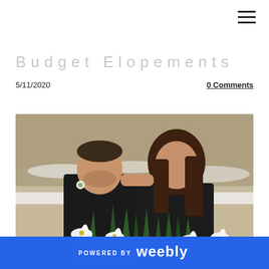[Figure (other): Hamburger menu icon (three horizontal lines) in top right corner]
Budget Elopements
5/11/2020
0 Comments
[Figure (photo): A couple in an intimate moment, man in black jacket with boutonniere and woman in black leather jacket, surrounded by white calla lilies and green foliage, with a snowy winter background]
POWERED BY weebly